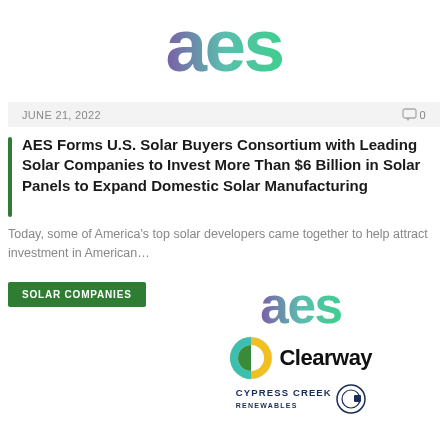[Figure (logo): AES company logo — large colorful letters 'aes' in purple-to-teal gradient]
JUNE 21, 2022
0 comments
AES Forms U.S. Solar Buyers Consortium with Leading Solar Companies to Invest More Than $6 Billion in Solar Panels to Expand Domestic Solar Manufacturing
Today, some of America's top solar developers came together to help attract investment in American…
SOLAR COMPANIES
[Figure (logo): AES logo — purple-to-green gradient letters 'aes']
[Figure (logo): Clearway Energy logo — circular icon with teal and yellow halves beside the word 'Clearway' in bold black text]
[Figure (logo): Cypress Creek Renewables logo — company name in navy text with a circular emblem]